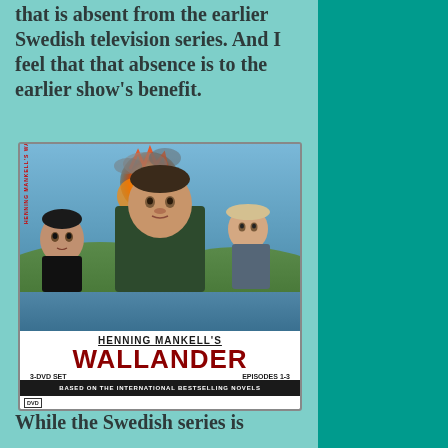that is absent from the earlier Swedish television series. And I feel that that absence is to the earlier show's benefit.
[Figure (photo): DVD cover of Henning Mankell's Wallander 3-DVD Set Episodes 1-3, showing three actors, an explosion scene, and text 'Based on the International Bestselling Novels'. From the producers of The Girl with the Dragon Tattoo.]
While the Swedish series is